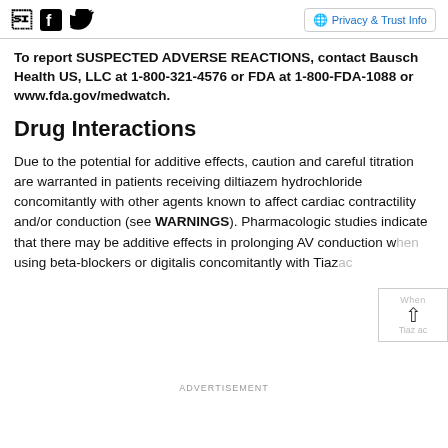Social icons (Facebook, Twitter) and Privacy & Trust Info button
To report SUSPECTED ADVERSE REACTIONS, contact Bausch Health US, LLC at 1-800-321-4576 or FDA at 1-800-FDA-1088 or www.fda.gov/medwatch.
Drug Interactions
Due to the potential for additive effects, caution and careful titration are warranted in patients receiving diltiazem hydrochloride concomitantly with other agents known to affect cardiac contractility and/or conduction (see WARNINGS). Pharmacologic studies indicate that there may be additive effects in prolonging AV conduction when using beta-blockers or digitalis concomitantly with Tiazac (see WARNINGS) that could be additive...
ADVERTISEMENT